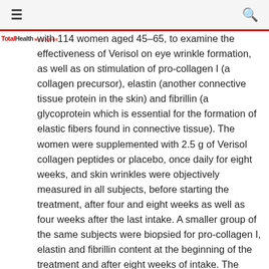≡  🔍
[Figure (logo): TotalHealth Magazine logo in red and black text]
with 114 women aged 45–65, to examine the effectiveness of Verisol on eye wrinkle formation, as well as on stimulation of pro-collagen I (a collagen precursor), elastin (another connective tissue protein in the skin) and fibrillin (a glycoprotein which is essential for the formation of elastic fibers found in connective tissue). The women were supplemented with 2.5 g of Verisol collagen peptides or placebo, once daily for eight weeks, and skin wrinkles were objectively measured in all subjects, before starting the treatment, after four and eight weeks as well as four weeks after the last intake. A smaller group of the same subjects were biopsied for pro-collagen I, elastin and fibrillin content at the beginning of the treatment and after eight weeks of intake. The results were impressive. Verisol promoted a statistically significant reduction of eye wrinkle volume (p < 0.05) in comparison to the placebo group after four and eight weeks (20 percent) of intake. Moreover, a positive long-